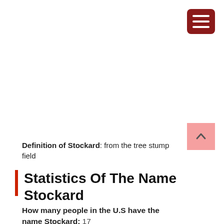[Figure (other): Dark red hamburger menu button in top-right corner with three white horizontal lines]
Definition of Stockard: from the tree stump field
[Figure (other): Pink scroll-to-top button with upward chevron arrow]
Statistics Of The Name Stockard
How many people in the U.S have the name Stockard: 17